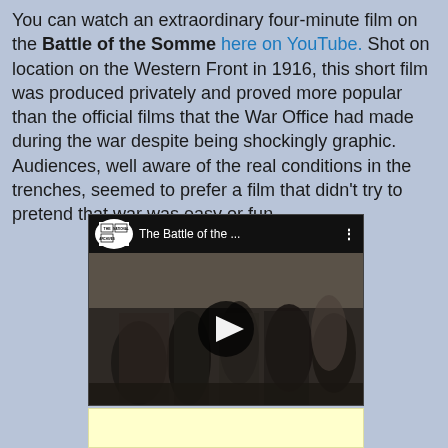You can watch an extraordinary four-minute film on the Battle of the Somme here on YouTube. Shot on location on the Western Front in 1916, this short film was produced privately and proved more popular than the official films that the War Office had made during the war despite being shockingly graphic. Audiences, well aware of the real conditions in the trenches, seemed to prefer a film that didn't try to pretend that war was easy or fun.
[Figure (screenshot): YouTube video thumbnail showing The Battle of the Somme - black and white historical footage with soldiers, The National Archives logo, play button overlay]